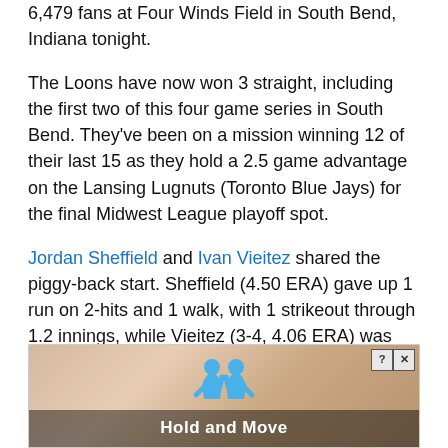6,479 fans at Four Winds Field in South Bend, Indiana tonight.
The Loons have now won 3 straight, including the first two of this four game series in South Bend. They've been on a mission winning 12 of their last 15 as they hold a 2.5 game advantage on the Lansing Lugnuts (Toronto Blue Jays) for the final Midwest League playoff spot.
Jordan Sheffield and Ivan Vieitez shared the piggy-back start. Sheffield (4.50 ERA) gave up 1 run on 2-hits and 1 walk, with 1 strikeout through 1.2 innings, while Vieitez (3-4, 4.06 ERA) was perfect with 2 strikeouts through 2.1 innings as he earned the win.
...
[Figure (screenshot): Advertisement banner reading 'Hold and Move' with two blue cartoon character icons and close/help buttons in the top-right corner]